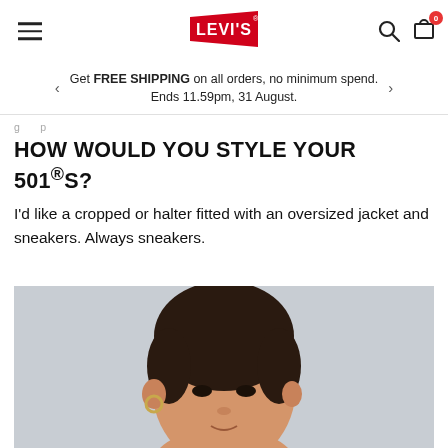Levi's logo, hamburger menu, search, cart (0)
Get FREE SHIPPING on all orders, no minimum spend. Ends 11.59pm, 31 August.
g...p...
HOW WOULD YOU STYLE YOUR 501®S?
I'd like a cropped or halter fitted with an oversized jacket and sneakers. Always sneakers.
[Figure (photo): Close-up portrait photo of a young woman with dark hair pulled back, wearing a small gold hoop earring, photographed against a light grey background.]